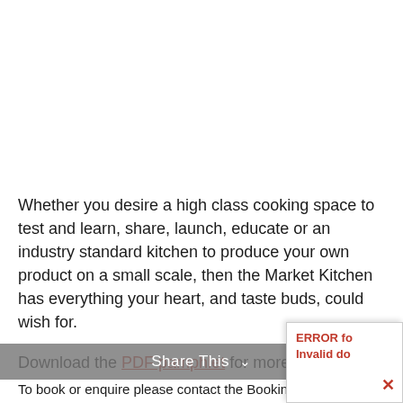Whether you desire a high class cooking space to test and learn, share, launch, educate or an industry standard kitchen to produce your own product on a small scale, then the Market Kitchen has everything your heart, and taste buds, could wish for.
Download the PDF pamphlet for more information.
To book or enquire please contact the Booking Coordinator: ph 3915 4200 or email admin@brisbanemarkets.com.au
Read how Wiley brought new life to an old building with
Share This